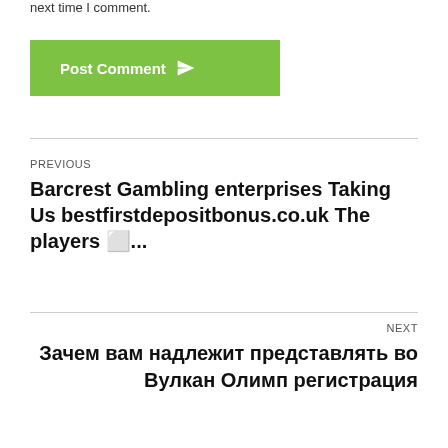next time I comment.
Post Comment
PREVIOUS
Barcrest Gambling enterprises Taking Us bestfirstdepositbonus.co.uk The players ⬜...
NEXT
Зачем вам надлежит представлять во Вулкан Олимп регистрация